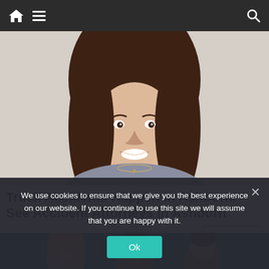Navigation bar with home, menu, and search icons
[Figure (photo): Smiling woman with long brown hair wearing a gray top and necklace, appearing in an advertisement for truck accident attorneys]
Truck Accidents Happen in Ashburn. See Accident Attorneys in Ashburn
Truck Accident Attorneys | Sponsored
Search Now
[Figure (photo): Group of people (partially visible heads) in front of teal/dark background, part of second advertisement]
We use cookies to ensure that we give you the best experience on our website. If you continue to use this site we will assume that you are happy with it.
Ok